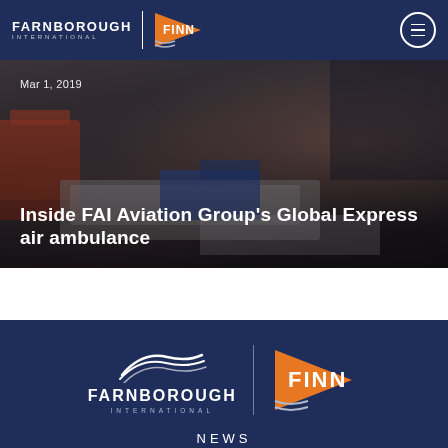[Figure (logo): Farnborough International and FINN logos in navy navigation bar with hamburger menu icon]
[Figure (photo): Interior of FAI Aviation Group Global Express air ambulance, dark-toned photo showing medical equipment]
Mar 1, 2019
Inside FAI Aviation Group's Global Express air ambulance
[Figure (logo): Large Farnborough International and FINN logos in footer banner on navy background]
NEWS